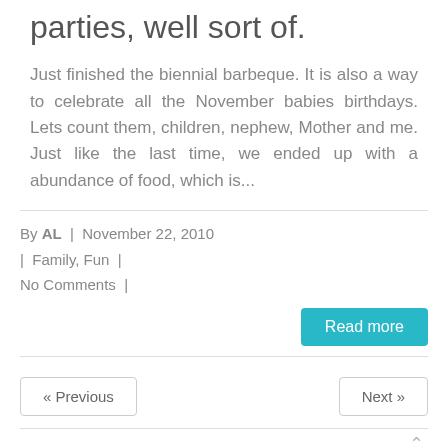parties, well sort of.
Just finished the biennial barbeque.  It is also a way to celebrate all the November babies birthdays.  Lets count them, children, nephew, Mother and me. Just like the last time, we ended up with a abundance of food, which is...
By AL  |  November 22, 2010  |  Family, Fun  |  No Comments  |
Read more
« Previous
Next »
Archives